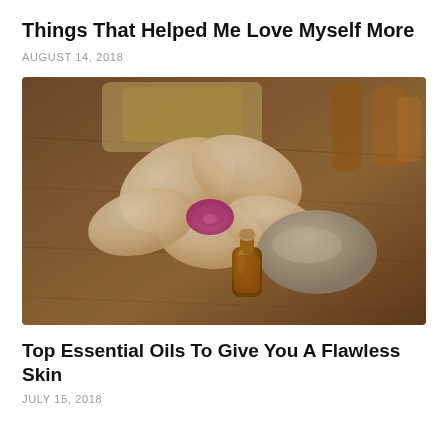Things That Helped Me Love Myself More
AUGUST 14, 2018
[Figure (photo): Close-up photo of essential oils spa setting: an orchid flower, a small cork-stoppered glass bottle with amber oil, a smooth stone, all on a wooden surface; blurred background shows soap bars and amber bottles.]
Top Essential Oils To Give You A Flawless Skin
JULY 15, 2018